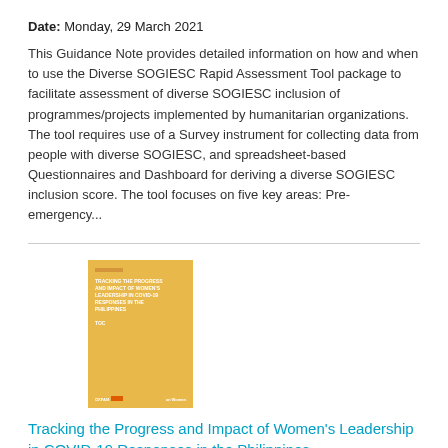Date: Monday, 29 March 2021
This Guidance Note provides detailed information on how and when to use the Diverse SOGIESC Rapid Assessment Tool package to facilitate assessment of diverse SOGIESC inclusion of programmes/projects implemented by humanitarian organizations. The tool requires use of a Survey instrument for collecting data from people with diverse SOGIESC, and spreadsheet-based Questionnaires and Dashboard for deriving a diverse SOGIESC inclusion score. The tool focuses on five key areas: Pre-emergency...
[Figure (photo): Yellow book cover for 'Tracking the Progress and Impact of Women's Leadership in COVID-19 Responses in the Philippines']
Tracking the Progress and Impact of Women's Leadership in COVID-19 Responses in the Philippines
Date: Wednesday, 24 March 2021
The purpose of this research is to develop a framework and tools to